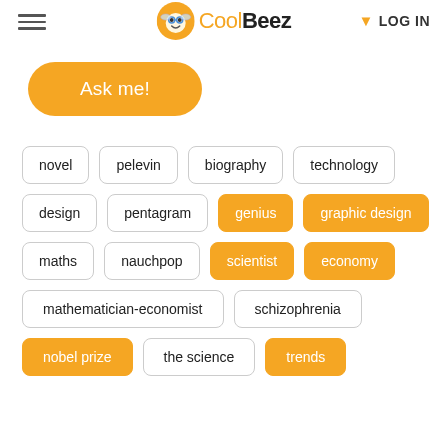CoolBeez — LOG IN
Ask me!
novel
pelevin
biography
technology
design
pentagram
genius
graphic design
maths
nauchpop
scientist
economy
mathematician-economist
schizophrenia
nobel prize
the science
trends